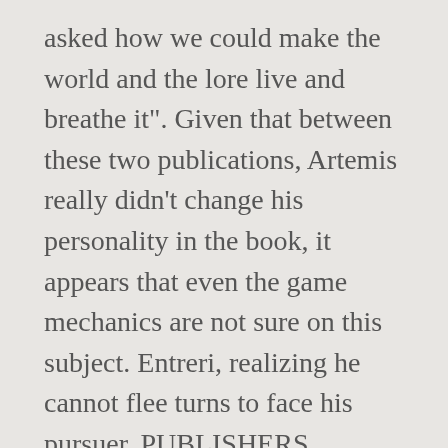asked how we could make the world and the lore live and breathe it". Given that between these two publications, Artemis really didn't change his personality in the book, it appears that even the game mechanics are not sure on this subject. Entreri, realizing he cannot flee turns to face his pursuer. PUBLISHERS WEEKLY 1 DE OCT. DE 2006. Artemis Entreri, a human assassin and Jarlaxle, his dark elf companion arrive at the wastelands in the frozen north. [54] Unlike Earth, the lands of the Forgotten Realms are not all ruled by the human race: the planet Toril is shared by humans, dwarves, elves, goblins, orcs, and other humanoids and creatures. From books 4 through 16, Entreri is a quintessential loner